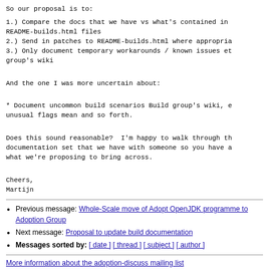So our proposal is to:
1.) Compare the docs that we have vs what's contained in README-builds.html files
2.) Send in patches to README-builds.html where appropriate
3.) Only document temporary workarounds / known issues et group's wiki
And the one I was more uncertain about:
* Document uncommon build scenarios Build group's wiki, e unusual flags mean and so forth.
Does this sound reasonable?  I'm happy to walk through th documentation set that we have with someone so you have a what we're proposing to bring across.
Cheers,
Martijn
Previous message: Whole-Scale move of Adopt OpenJDK programme to Adoption Group
Next message: Proposal to update build documentation
Messages sorted by: [ date ] [ thread ] [ subject ] [ author ]
More information about the adoption-discuss mailing list